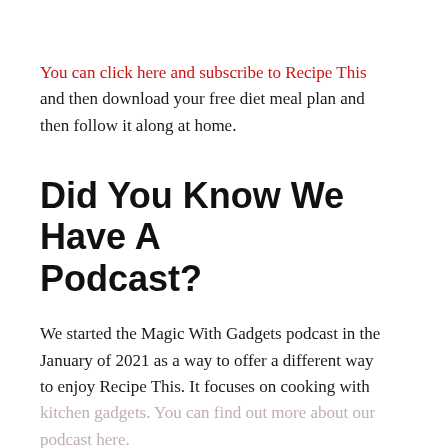You can click here and subscribe to Recipe This and then download your free diet meal plan and then follow it along at home.
Did You Know We Have A Podcast?
We started the Magic With Gadgets podcast in the January of 2021 as a way to offer a different way to enjoy Recipe This. It focuses on cooking with kitchen gadgets. You can find out more about our podcast here.